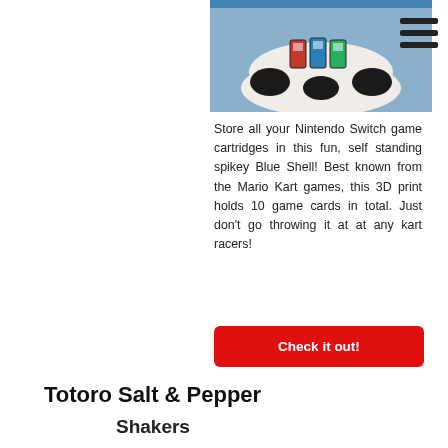[Figure (photo): A white 3D printed Blue Shell from Mario Kart holding Nintendo Switch game cartridges, sitting on a surface.]
Store all your Nintendo Switch game cartridges in this fun, self standing spikey Blue Shell! Best known from the Mario Kart games, this 3D print holds 10 game cards in total. Just don't go throwing it at at any kart racers!
Check it out!
Totoro Salt & Pepper
Shakers